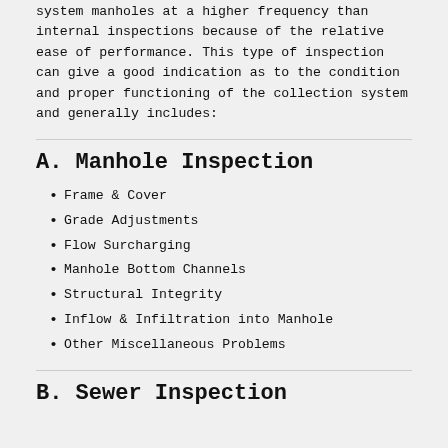system manholes at a higher frequency than internal inspections because of the relative ease of performance. This type of inspection can give a good indication as to the condition and proper functioning of the collection system and generally includes:
A. Manhole Inspection
Frame & Cover
Grade Adjustments
Flow Surcharging
Manhole Bottom Channels
Structural Integrity
Inflow & Infiltration into Manhole
Other Miscellaneous Problems
B. Sewer Inspection